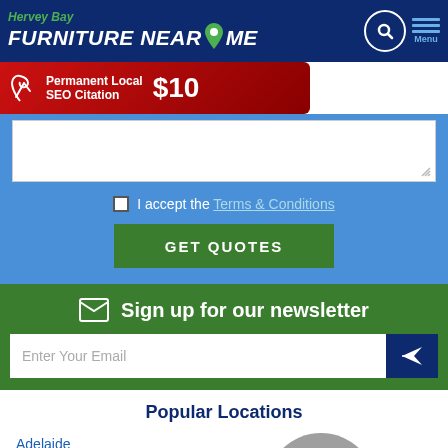Hervey Bay FURNITURE NEAR ME
[Figure (screenshot): Red ad banner: Permanent Local SEO Citation $10]
[Figure (screenshot): Checkbox row with 'I accept the Terms & Conditions' and GET QUOTES green button on blue background]
Sign up for our newsletter
Enter Your Email
Popular Locations
Adelaide
Albury-Wodonga